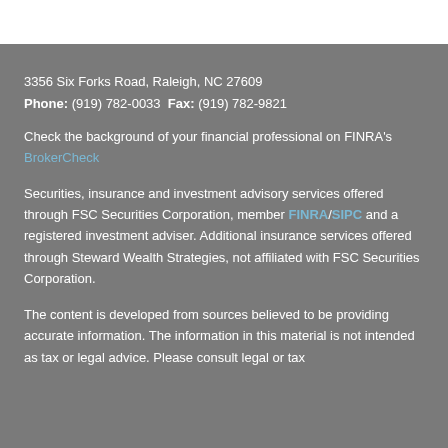3356 Six Forks Road, Raleigh, NC 27609
Phone: (919) 782-0033  Fax: (919) 782-9821
Check the background of your financial professional on FINRA's BrokerCheck
Securities, insurance and investment advisory services offered through FSC Securities Corporation, member FINRA/SIPC and a registered investment adviser. Additional insurance services offered through Steward Wealth Strategies, not affiliated with FSC Securities Corporation.
The content is developed from sources believed to be providing accurate information. The information in this material is not intended as tax or legal advice. Please consult legal or tax